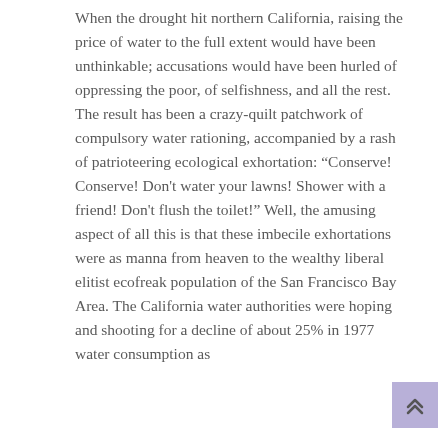When the drought hit northern California, raising the price of water to the full extent would have been unthinkable; accusations would have been hurled of oppressing the poor, of selfishness, and all the rest. The result has been a crazy-quilt patchwork of compulsory water rationing, accompanied by a rash of patrioteering ecological exhortation: “Conserve! Conserve! Don't water your lawns! Shower with a friend! Don't flush the toilet!” Well, the amusing aspect of all this is that these imbecile exhortations were as manna from heaven to the wealthy liberal elitist ecofreak population of the San Francisco Bay Area. The California water authorities were hoping and shooting for a decline of about 25% in 1977 water consumption as